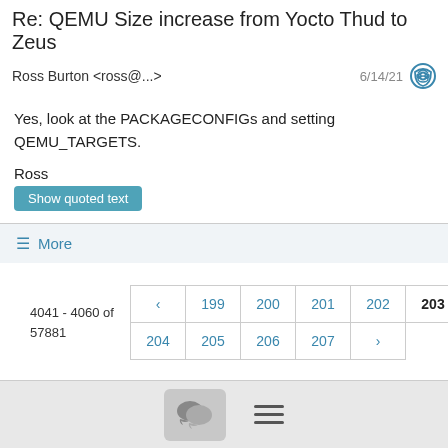Re: QEMU Size increase from Yocto Thud to Zeus
Ross Burton <ross@...>   6/14/21
Yes, look at the PACKAGECONFIGs and setting QEMU_TARGETS.
Ross
Show quoted text
≡ More
4041 - 4060 of 57881
< 199 200 201 202 203 204 205 206 207 >
chat menu